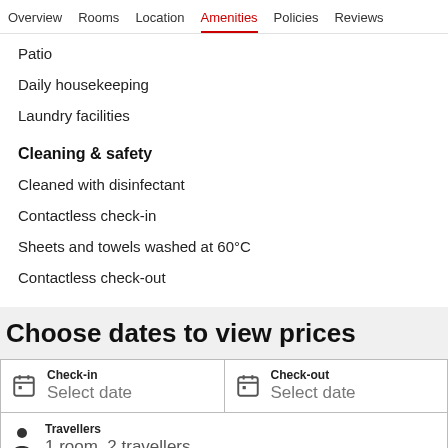Overview  Rooms  Location  Amenities  Policies  Reviews
Patio
Daily housekeeping
Laundry facilities
Cleaning & safety
Cleaned with disinfectant
Contactless check-in
Sheets and towels washed at 60°C
Contactless check-out
Choose dates to view prices
Check-in: Select date
Check-out: Select date
Travellers: 1 room, 2 travellers